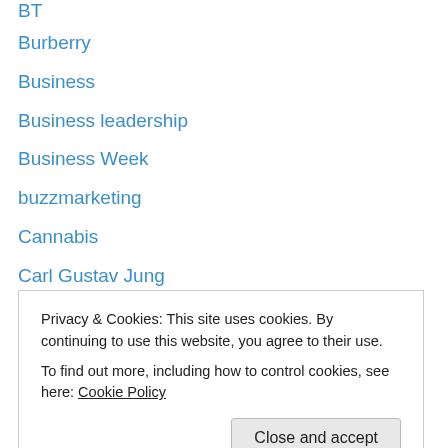BT
Burberry
Business
Business leadership
Business Week
buzzmarketing
Cannabis
Carl Gustav Jung
Carl Rogers
Carlos Ghosn
Carlos Tevez
Carol Bartz
Casciano and Lobo
Cat herding
Privacy & Cookies: This site uses cookies. By continuing to use this website, you agree to their use.
To find out more, including how to control cookies, see here: Cookie Policy
Charlie Chaplin